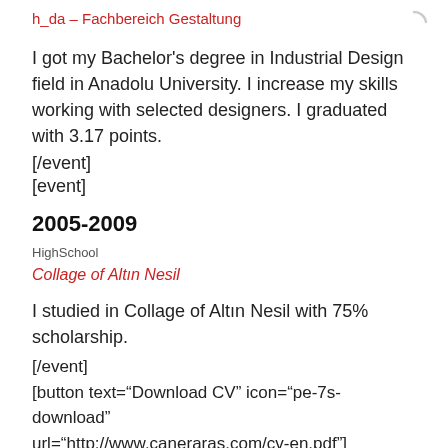h_da – Fachbereich Gestaltung
I got my Bachelor's degree in Industrial Design field in Anadolu University. I increase my skills working with selected designers. I graduated with 3.17 points.
[/event]
[event]
2005-2009
HighSchool
Collage of Altın Nesil
I studied in Collage of Altın Nesil with 75% scholarship.
[/event]
[button text="Download CV" icon="pe-7s-download" url="http://www.caneraras.com/cv-en.pdf"]
[/column]